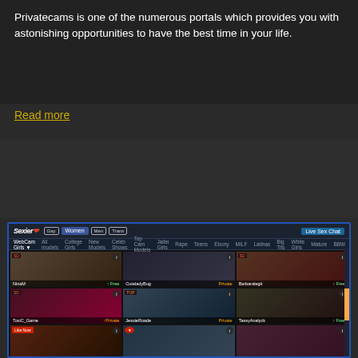Privatecams is one of the numerous portals which provides you with astonishing opportunities to have the best time in your life.
Read more
PRIVATECAMS REVIEW
FULL REVIEW
VISIT SITE
[Figure (screenshot): Screenshot of Sexier.com webcam site showing a grid of webcam model thumbnails with navigation header, categories bar, and scrollbar on the right.]